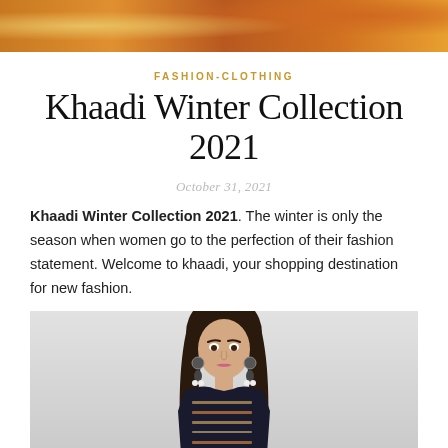[Figure (photo): Top banner image showing colorful traditional fashion clothing with warm orange/gold tones]
FASHION-CLOTHING
Khaadi Winter Collection 2021
October 31, 2021
Khaadi Winter Collection 2021. The winter is only the season when women go to the perfection of their fashion statement. Welcome to khaadi, your shopping destination for new fashion.
[Figure (photo): A woman model wearing Khaadi winter collection clothing — a patterned outfit with embroidery, wearing tassel earrings, photographed against a light grey background]